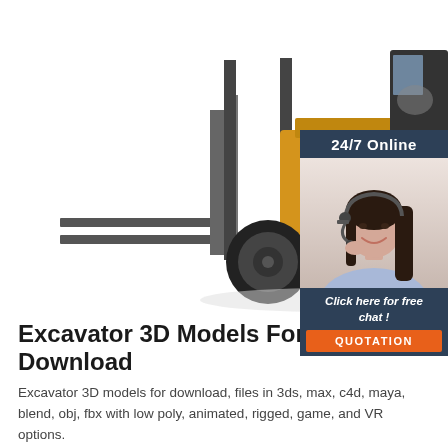[Figure (photo): Yellow forklift (LT570) on white background viewed from the side, with forks extended to the left and operator cab visible]
[Figure (infographic): Chat widget with dark blue header reading '24/7 Online', a smiling female customer service agent wearing a headset, italic text 'Click here for free chat!', and an orange button reading 'QUOTATION']
Excavator 3D Models For Download
Excavator 3D models for download, files in 3ds, max, c4d, maya, blend, obj, fbx with low poly, animated, rigged, game, and VR options.